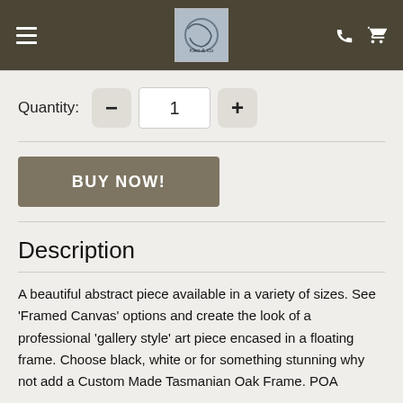Klec & Co — navigation bar with hamburger menu, logo, phone and cart icons
Quantity: 1
BUY NOW!
Description
A beautiful abstract piece available in a variety of sizes. See 'Framed Canvas' options and create the look of a professional 'gallery style' art piece encased in a floating frame. Choose black, white or for something stunning why not add a Custom Made Tasmanian Oak Frame. POA
If you are not sure about which art piece to choose for your